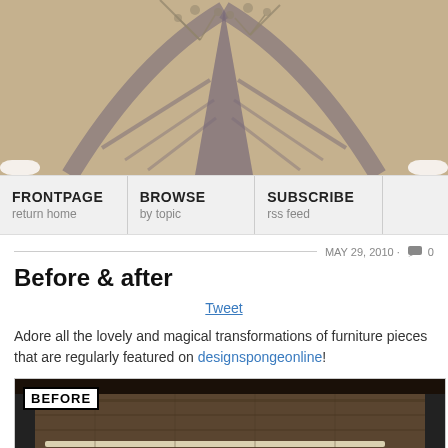[Figure (photo): Sepia-toned photo of the top of the Eiffel Tower viewed from below, with tree branches visible against a hazy sky]
FRONTPAGE return home | BROWSE by topic | SUBSCRIBE rss feed
MAY 29, 2010 · 0
Before & after
Tweet
Adore all the lovely and magical transformations of furniture pieces that are regularly featured on designspongeonline!
[Figure (photo): A 'BEFORE' photo showing a wooden dresser or furniture piece in what appears to be a warehouse or storage space]